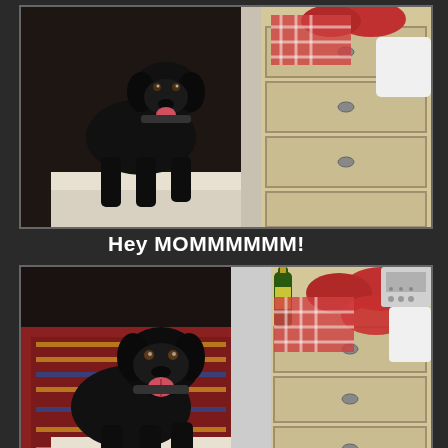[Figure (photo): Black Labrador dog on stairs looking at camera, with dresser on right side holding red oval items and checkered cloth]
Hey MOMMMMMM!
[Figure (photo): Black Labrador dog on stairs looking closer at dresser with red oval meat items and checkered cloth, beer bottle visible]
MMM - I hope they're all for me.
[Figure (photo): Partial third panel showing dog and dresser with red oval items, bottom of sequence]